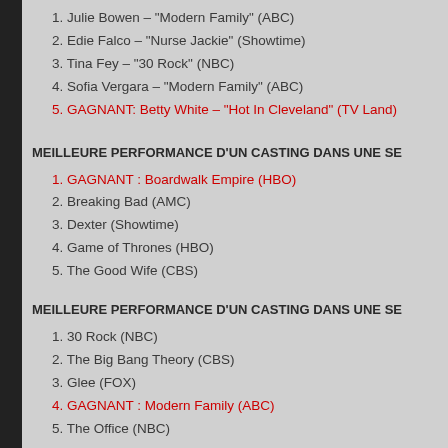1. Julie Bowen – "Modern Family" (ABC)
2. Edie Falco – "Nurse Jackie" (Showtime)
3. Tina Fey – "30 Rock" (NBC)
4. Sofia Vergara – "Modern Family" (ABC)
5. GAGNANT: Betty White – "Hot In Cleveland" (TV Land)
MEILLEURE PERFORMANCE D'UN CASTING DANS UNE SE
1. GAGNANT : Boardwalk Empire (HBO)
2. Breaking Bad (AMC)
3. Dexter (Showtime)
4. Game of Thrones (HBO)
5. The Good Wife (CBS)
MEILLEURE PERFORMANCE D'UN CASTING DANS UNE SE
1. 30 Rock (NBC)
2. The Big Bang Theory (CBS)
3. Glee (FOX)
4. GAGNANT : Modern Family (ABC)
5. The Office (NBC)